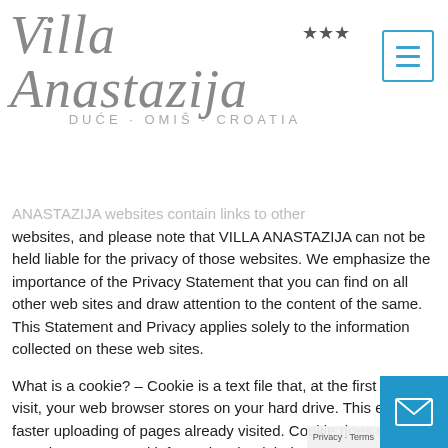[Figure (logo): Villa Anastazija logo with script text, three stars, and subtitle DUĆE - OMIŠ - CROATIA, plus a blue hamburger menu button]
ANASTAZIJA websites contain links to other websites, and please note that VILLA ANASTAZIJA can not be held liable for the privacy of those websites. We emphasize the importance of the Privacy Statement that you can find on all other web sites and draw attention to the content of the same. This Statement and Privacy applies solely to the information collected on these web sites.
What is a cookie? – Cookie is a text file that, at the first page visit, your web browser stores on your hard drive. This enables faster uploading of pages already visited. Cookie does not contain any personal information, but it helps us to provide you with special services while on the Web.
Why use cookies? – One of the key benefits of cookies is time savings and easier site navigation, since the cookies give the web browser a reminder that the web content and to